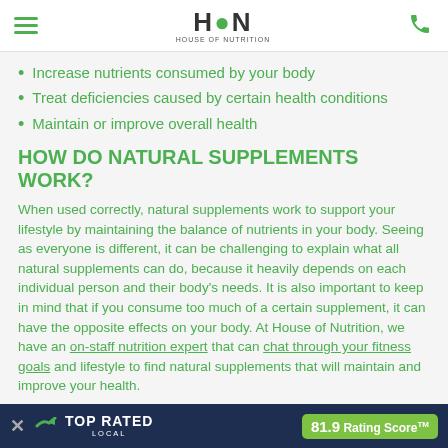HON (House of Nutrition) logo with hamburger menu and phone icon
Increase nutrients consumed by your body
Treat deficiencies caused by certain health conditions
Maintain or improve overall health
HOW DO NATURAL SUPPLEMENTS WORK?
When used correctly, natural supplements work to support your lifestyle by maintaining the balance of nutrients in your body. Seeing as everyone is different, it can be challenging to explain what all natural supplements can do, because it heavily depends on each individual person and their body's needs. It is also important to keep in mind that if you consume too much of a certain supplement, it can have the opposite effects on your body. At House of Nutrition, we have an on-staff nutrition expert that can chat through your fitness goals and lifestyle to find natural supplements that will maintain and improve your health.
WHAT ARE C... SUPPLEMENT...
[Figure (infographic): Top Rated Local banner overlay at bottom of page showing 81.9 Rating Score TM badge with close button and logo]